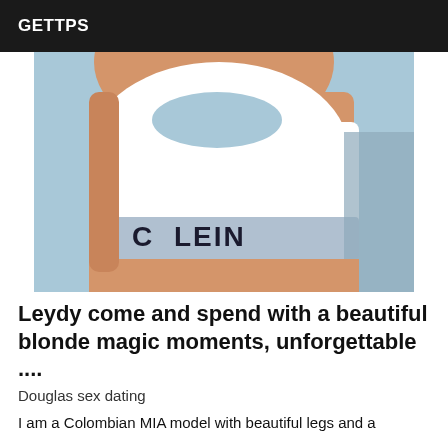GETTPS
[Figure (photo): Close-up photo of a woman wearing a white sports bra/crop top and light blue Calvin Klein underwear, shot from chin to hip level.]
Leydy come and spend with a beautiful blonde magic moments, unforgettable ....
Douglas sex dating
I am a Colombian MIA model with beautiful legs and a